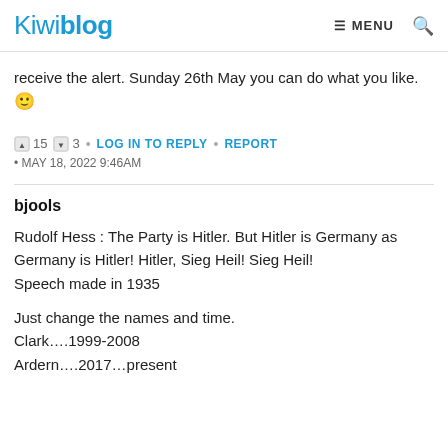Kiwiblog | MENU [search]
receive the alert. Sunday 26th May you can do what you like. 🙂
👍 15 👎 3 • LOG IN TO REPLY • REPORT
• MAY 18, 2022 9:46AM
bjools
Rudolf Hess : The Party is Hitler. But Hitler is Germany as Germany is Hitler! Hitler, Sieg Heil! Sieg Heil!
Speech made in 1935

Just change the names and time.
Clark….1999-2008
Ardern….2017…present